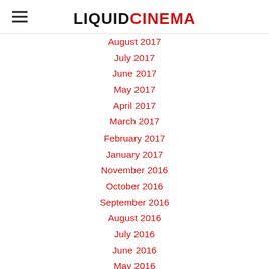LIQUIDCINEMA
August 2017
July 2017
June 2017
May 2017
April 2017
March 2017
February 2017
January 2017
November 2016
October 2016
September 2016
August 2016
July 2016
June 2016
May 2016
November 2015
May 2015
March 2015